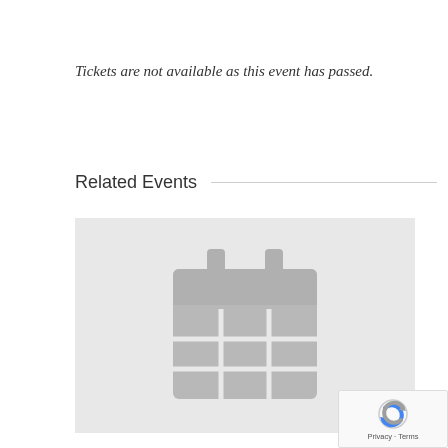Tickets are not available as this event has passed.
Related Events
[Figure (illustration): A placeholder calendar icon in grey on a light grey background, representing an event image placeholder.]
[Figure (logo): Google reCAPTCHA badge with Privacy and Terms links in bottom-right corner.]